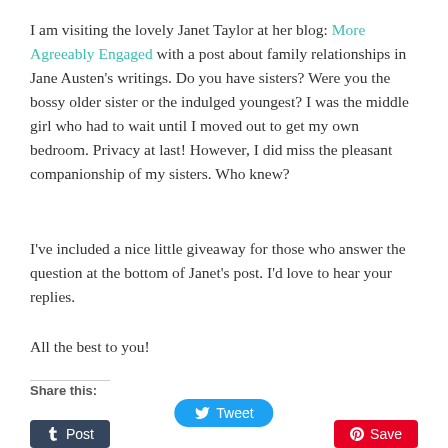I am visiting the lovely Janet Taylor at her blog: More Agreeably Engaged with a post about family relationships in Jane Austen's writings. Do you have sisters? Were you the bossy older sister or the indulged youngest? I was the middle girl who had to wait until I moved out to get my own bedroom. Privacy at last! However, I did miss the pleasant companionship of my sisters. Who knew?
I've included a nice little giveaway for those who answer the question at the bottom of Janet's post. I'd love to hear your replies.
All the best to you!
Share this:
Tweet
Post
Save